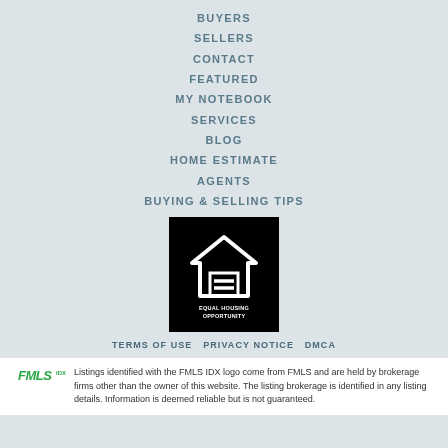BUYERS
SELLERS
CONTACT
FEATURED
MY NOTEBOOK
SERVICES
BLOG
HOME ESTIMATE
AGENTS
BUYING & SELLING TIPS
[Figure (logo): Equal Housing Opportunity logo — black background with white house outline and equal sign]
TERMS OF USE  PRIVACY NOTICE  DMCA
Listings identified with the FMLS IDX logo come from FMLS and are held by brokerage firms other than the owner of this website. The listing brokerage is identified in any listing details. Information is deemed reliable but is not guaranteed.